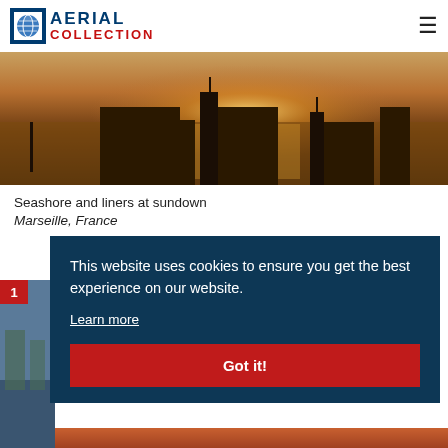AERIAL COLLECTION
[Figure (photo): Aerial photo of seashore and liners at sundown, silhouettes of ships and structures against golden water reflection, Marseille France]
Seashore and liners at sundown
Marseille, France
[Figure (photo): Thumbnail of aerial coastal view, partially visible behind cookie consent overlay]
This website uses cookies to ensure you get the best experience on our website. Learn more
Got it!